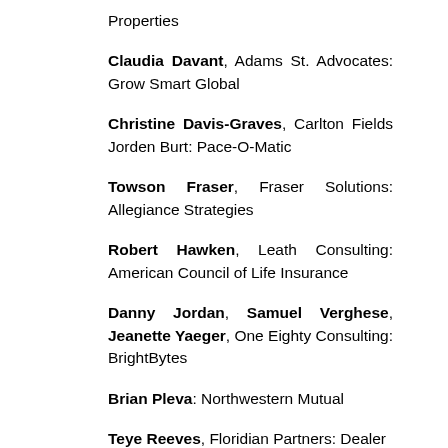Properties
Claudia Davant, Adams St. Advocates: Grow Smart Global
Christine Davis-Graves, Carlton Fields Jorden Burt: Pace-O-Matic
Towson Fraser, Fraser Solutions: Allegiance Strategies
Robert Hawken, Leath Consulting: American Council of Life Insurance
Danny Jordan, Samuel Verghese, Jeanette Yaeger, One Eighty Consulting: BrightBytes
Brian Pleva: Northwestern Mutual
Teye Reeves, Floridian Partners: Dealer Consulting Group